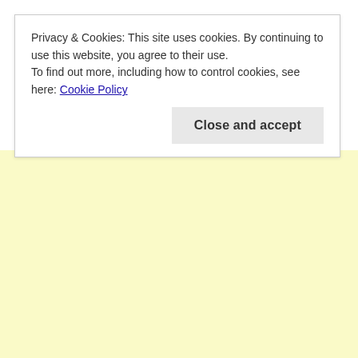Privacy & Cookies: This site uses cookies. By continuing to use this website, you agree to their use.
To find out more, including how to control cookies, see here: Cookie Policy
Close and accept
in   General